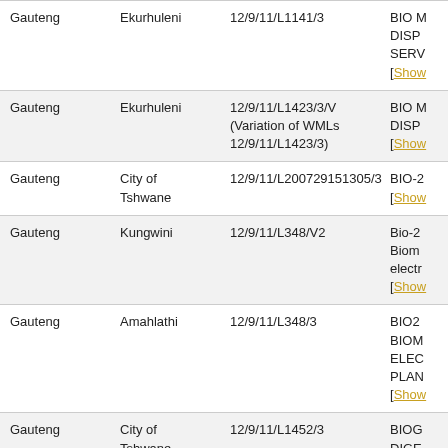| Province | Municipality | Licence Number | Description |
| --- | --- | --- | --- |
| Gauteng | Ekurhuleni | 12/9/11/L1141/3 | BIO M DISP SERV [Show... |
| Gauteng | Ekurhuleni | 12/9/11/L1423/3/V (Variation of WMLs 12/9/11/L1423/3) | BIO M DISP [Show... |
| Gauteng | City of Tshwane | 12/9/11/L200729151305/3 | BIO-2 [Show... |
| Gauteng | Kungwini | 12/9/11/L348/V2 | Bio-2 Biom electr [Show... |
| Gauteng | Amahlathi | 12/9/11/L348/3 | BIO2 BIOM ELEC PLAN [Show... |
| Gauteng | City of Tshwane | 12/9/11/L1452/3 | BIOG DIGE CAVA [Show... |
Page 9 of 118, showing 25 records out of 2930 total, starting on record 201, ending on 225.